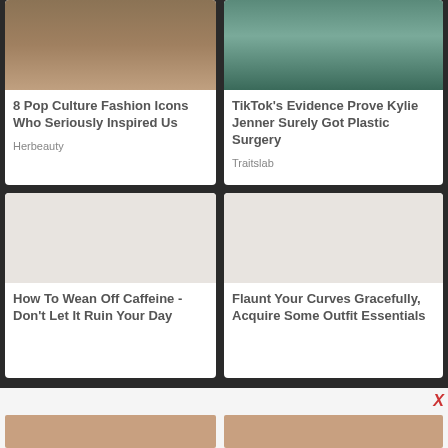[Figure (photo): Woman in dark top with necklace]
8 Pop Culture Fashion Icons Who Seriously Inspired Us
Herbeauty
[Figure (photo): Woman in bikini on boat]
TikTok's Evidence Prove Kylie Jenner Surely Got Plastic Surgery
Traitslab
[Figure (photo): Blank placeholder image]
How To Wean Off Caffeine - Don't Let It Ruin Your Day
[Figure (photo): Blank placeholder image]
Flaunt Your Curves Gracefully, Acquire Some Outfit Essentials